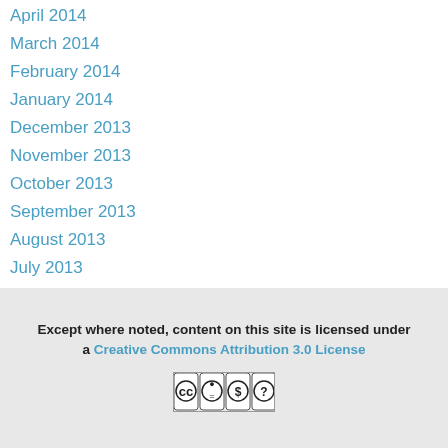April 2014
March 2014
February 2014
January 2014
December 2013
November 2013
October 2013
September 2013
August 2013
July 2013
June 2013
May 2013
April 2013
Except where noted, content on this site is licensed under a Creative Commons Attribution 3.0 License
[Figure (logo): Creative Commons license icons: CC, attribution, share-alike, no-derivatives]